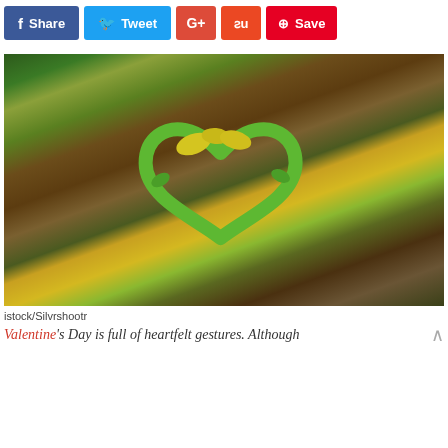[Figure (screenshot): Social media share buttons: Facebook Share, Twitter Tweet, Google+, StumbleUpon, Pinterest Save]
[Figure (photo): A heart shape made from green and yellow leaves lying on a forest floor covered with fallen autumn leaves]
istock/Silvrshootr
Valentine's Day is full of heartfelt gestures. Although